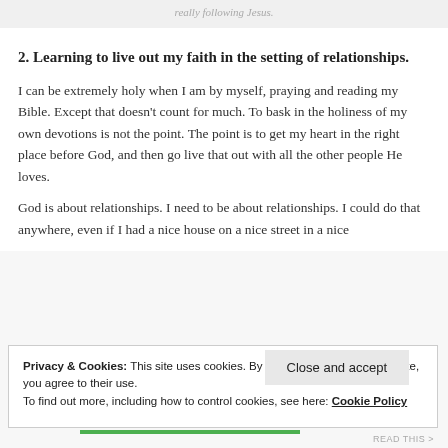really following Jesus.
2. Learning to live out my faith in the setting of relationships.
I can be extremely holy when I am by myself, praying and reading my Bible. Except that doesn't count for much. To bask in the holiness of my own devotions is not the point. The point is to get my heart in the right place before God, and then go live that out with all the other people He loves.
God is about relationships. I need to be about relationships. I could do that anywhere, even if I had a nice house on a nice street in a nice
Privacy & Cookies: This site uses cookies. By continuing to use this website, you agree to their use.
To find out more, including how to control cookies, see here: Cookie Policy
Close and accept